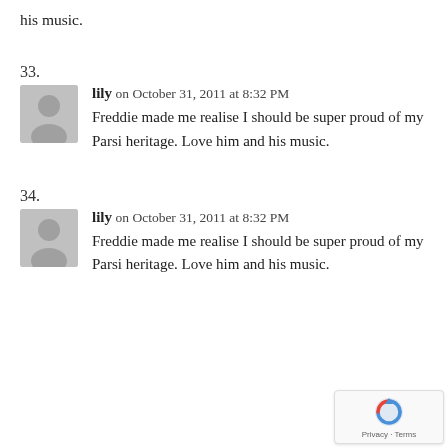his music.
33.
lily on October 31, 2011 at 8:32 PM
Freddie made me realise I should be super proud of my Parsi heritage. Love him and his music.
34.
lily on October 31, 2011 at 8:32 PM
Freddie made me realise I should be super proud of my Parsi heritage. Love him and his music.